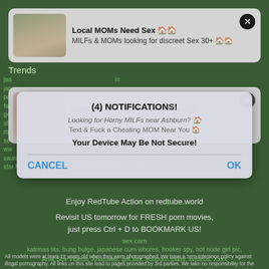[Figure (screenshot): Adult advertisement banner with thumbnail image. Title: 'Local MOMs Need Sex' with emoji. Subtitle: 'MILFs & MOMs looking for discreet Sex 30+' with emoji. Close button in top right.]
Trends
Background green text with various adult-related search terms and website names
[Figure (screenshot): Second adult advertisement banner with thumbnail image. Text: 'Looking for Horny MILFs near Ashburn?' and 'Text & Fuck a Cheating MOM Near You'. Close button top right.]
[Figure (screenshot): Browser dialog box overlay with text: '(4) NOTIFICATIONS!' and 'Your Device May Be Not Secure!' with CANCEL and OK buttons]
Enjoy RedTube Action on redtube.world
Revisit US tomorrow for FRESH porn movies, just press Ctrl + D to BOOKMARK US!
sex cam
katrinas tits, hung bulge, japanese cum whores, hooker spy, hot nude girl pic, Anal Sex Videos, Xhamster, got.sex, youporn.today, xvideos, Xxxx
All models were at least 18 years old when they were photographed. We have a zero-tolerance policy against illegal pornography. All links on this site lead to pages provided by 3rd parties. We take no responsibility for the content on any website which we link to, please use your own discretion while surfing the links. We are produly labeled with the ICRA.